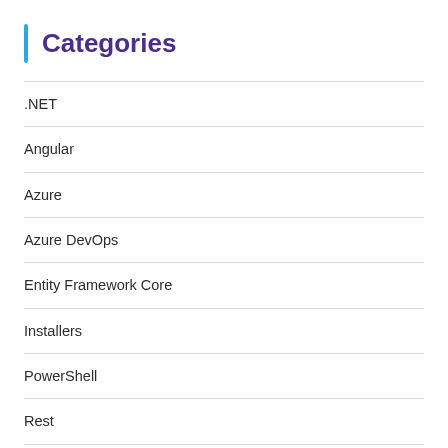Categories
.NET
Angular
Azure
Azure DevOps
Entity Framework Core
Installers
PowerShell
Rest
SQL Server
Tips